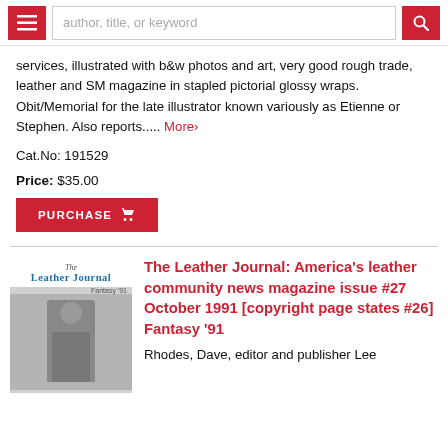author, title, or keyword
services, illustrated with b&w photos and art, very good rough trade, leather and SM magazine in stapled pictorial glossy wraps. Obit/Memorial for the late illustrator known variously as Etienne or Stephen. Also reports..... More›
Cat.No: 191529
Price: $35.00
PURCHASE
[Figure (photo): Cover of The Leather Journal magazine, Fantasy '91 issue, showing a person standing]
The Leather Journal: America's leather community news magazine issue #27 October 1991 [copyright page states #26] Fantasy '91
Rhodes, Dave, editor and publisher Lee